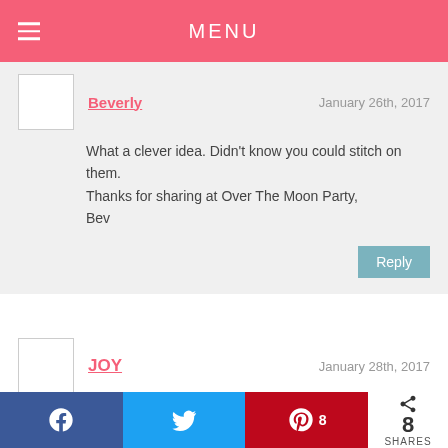MENU
Beverly   January 26th, 2017
What a clever idea. Didn't know you could stitch on them.
Thanks for sharing at Over The Moon Party,
Bev
Reply
JOY   January 28th, 2017
What a great way to use some scrap yarn!
Reply